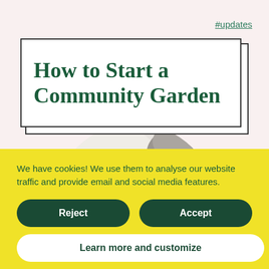#updates
How to Start a Community Garden
[Figure (photo): Circular cropped photo of a garden scene with plants and light background]
We have cookies! We use them to analyse our website traffic and provide email and social media features.
Reject
Accept
Learn more and customize